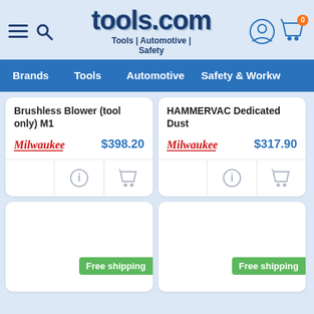tools.com — Tools | Automotive | Safety
Brands | Tools | Automotive | Safety & Workw
Brushless Blower (tool only) M1
$398.20
HAMMERVAC Dedicated Dust
$317.90
Free shipping
Free shipping